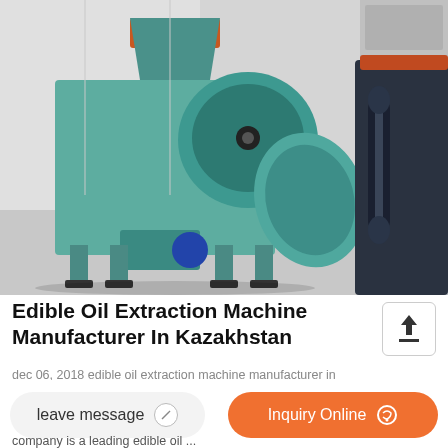[Figure (photo): Industrial edible oil extraction machine with teal/green body and large circular blade component in a factory setting]
Edible Oil Extraction Machine Manufacturer In Kazakhstan
dec 06, 2018 edible oil extraction machine manufacturer in
company is a leading edible oil ...